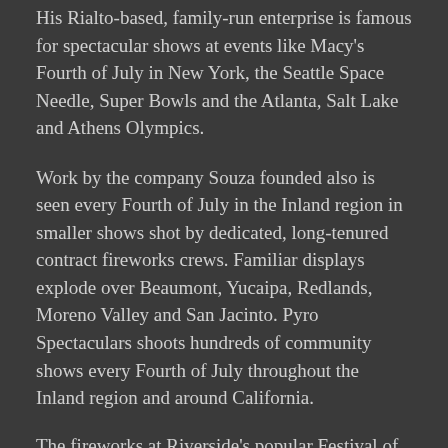His Rialto-based, family-run enterprise is famous for spectacular shows at events like Macy's Fourth of July in New York, the Seattle Space Needle, Super Bowls and the Atlanta, Salt Lake and Athens Olympics.
Work by the company Souza founded also is seen every Fourth of July in the Inland region in smaller shows shot by dedicated, long-tenured contract fireworks crews. Familiar displays explode over Beaumont, Yucaipa, Redlands, Moreno Valley and San Jacinto. Pyro Spectaculars shoots hundreds of community shows every Fourth of July throughout the Inland region and around California.
The fireworks at Riverside's popular Festival of Lights is